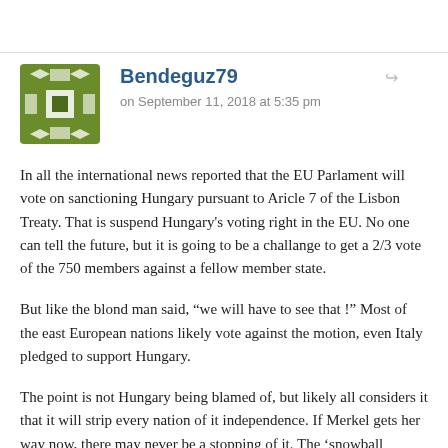[Figure (illustration): Green geometric avatar icon with square and diamond pattern]
Bendeguz79
on September 11, 2018 at 5:35 pm
In all the international news reported that the EU Parlament will vote on sanctioning Hungary pursuant to Aricle 7 of the Lisbon Treaty. That is suspend Hungary’s voting right in the EU. No one can tell the future, but it is going to be a challange to get a 2/3 vote of the 750 members against a fellow member state.
But like the blond man said, “we will have to see that !” Most of the east European nations likely vote against the motion, even Italy pledged to support Hungary.
The point is not Hungary being blamed of, but likely all considers it that it will strip every nation of it independence. If Merkel gets her way now, there may never be a stopping of it. The ‘snowball effect’.